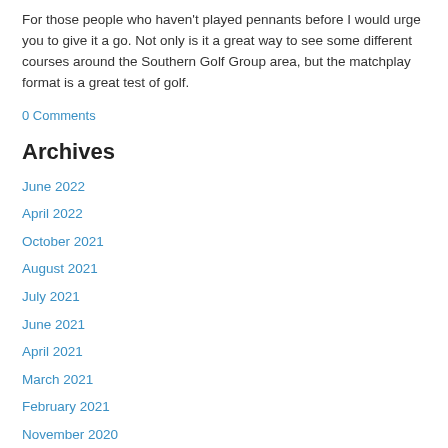For those people who haven't played pennants before I would urge you to give it a go. Not only is it a great way to see some different courses around the Southern Golf Group area, but the matchplay format is a great test of golf.
0 Comments
Archives
June 2022
April 2022
October 2021
August 2021
July 2021
June 2021
April 2021
March 2021
February 2021
November 2020
October 2020
July 2020
June 2020